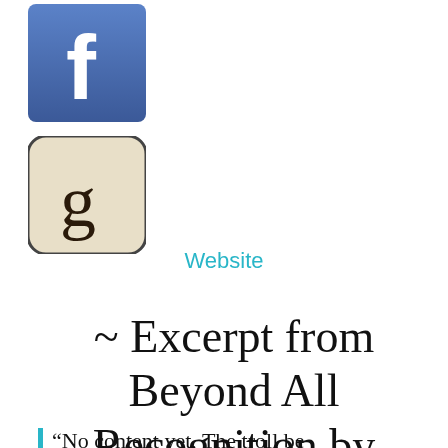[Figure (logo): Facebook social media icon - blue square with white 'f' letter]
[Figure (logo): Goodreads app icon - beige/cream rounded square with lowercase 'g' letter]
Website
~ Excerpt from Beyond All Recognition by Kenneth Eades ~
“No content yet, The troll be...